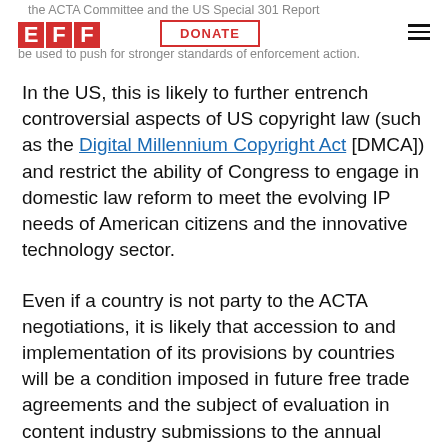the ACTA Committee and the US Special 301 Report be used to push for stronger standards of enforcement action.
In the US, this is likely to further entrench controversial aspects of US copyright law (such as the Digital Millennium Copyright Act [DMCA]) and restrict the ability of Congress to engage in domestic law reform to meet the evolving IP needs of American citizens and the innovative technology sector.
Even if a country is not party to the ACTA negotiations, it is likely that accession to and implementation of its provisions by countries will be a condition imposed in future free trade agreements and the subject of evaluation in content industry submissions to the annual Special